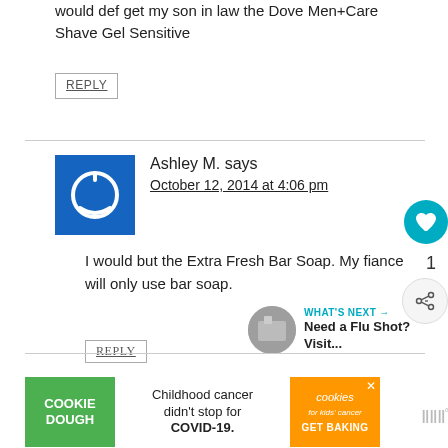would def get my son in law the Dove Men+Care Shave Gel Sensitive
REPLY
Ashley M. says
October 12, 2014 at 4:06 pm
I would but the Extra Fresh Bar Soap. My fiance will only use bar soap.
REPLY
[Figure (infographic): Cookie Dough / Cookies for Kids' Cancer ad banner: Childhood cancer didn't stop for COVID-19. GET BAKING]